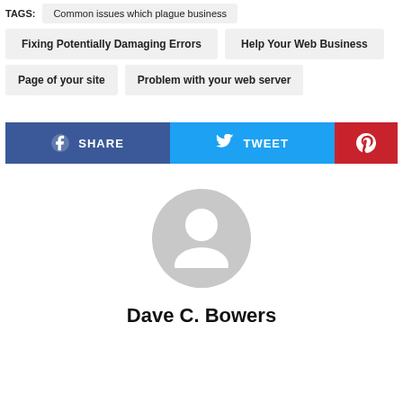TAGS:
Common issues which plague business
Fixing Potentially Damaging Errors
Help Your Web Business
Page of your site
Problem with your web server
[Figure (infographic): Social sharing buttons: SHARE (Facebook, blue), TWEET (Twitter, light blue), Pinterest (red)]
[Figure (photo): Default user avatar placeholder (grey silhouette)]
Dave C. Bowers